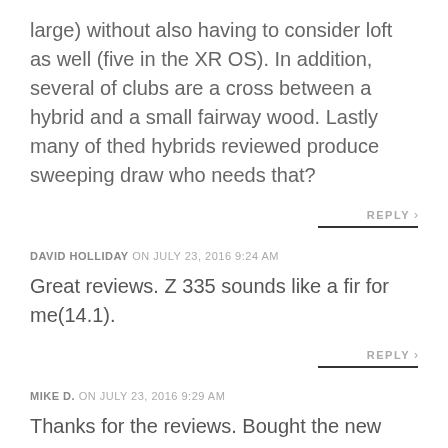large) without also having to consider loft as well (five in the XR OS). In addition, several of clubs are a cross between a hybrid and a small fairway wood. Lastly many of thed hybrids reviewed produce sweeping draw who needs that?
REPLY >
DAVID HOLLIDAY on JULY 23, 2016 9:24 AM
Great reviews. Z 335 sounds like a fir for me(14.1).
REPLY >
MIKE D. on JULY 23, 2016 9:29 AM
Thanks for the reviews. Bought the new